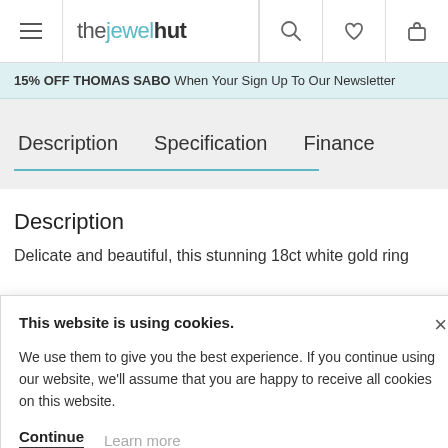thejewelhut — navigation header with menu, logo, search, wishlist, cart icons
15% OFF THOMAS SABO When Your Sign Up To Our Newsletter
Description   Specification   Finance
Description
Delicate and beautiful, this stunning 18ct white gold ring
This website is using cookies.
We use them to give you the best experience. If you continue using our website, we'll assume that you are happy to receive all cookies on this website.
Continue   Learn more